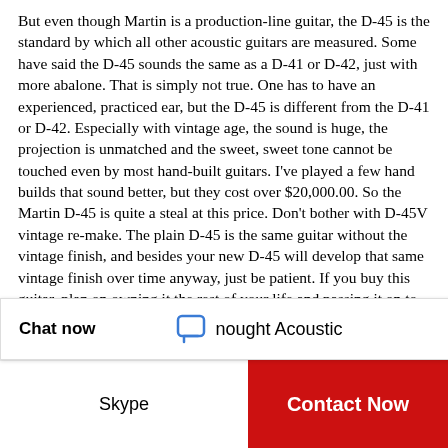But even though Martin is a production-line guitar, the D-45 is the standard by which all other acoustic guitars are measured. Some have said the D-45 sounds the same as a D-41 or D-42, just with more abalone. That is simply not true. One has to have an experienced, practiced ear, but the D-45 is different from the D-41 or D-42. Especially with vintage age, the sound is huge, the projection is unmatched and the sweet, sweet tone cannot be touched even by most hand-built guitars. I've played a few hand builds that sound better, but they cost over $20,000.00. So the Martin D-45 is quite a steal at this price. Don't bother with D-45V vintage re-make. The plain D-45 is the same guitar without the vintage finish, and besides your new D-45 will develop that same vintage finish over time anyway, just be patient. If you buy this guitar, plan on owning it the rest of your life and passing it on to your children as an heirloom.
Chat now
nought Acoustic
Skype
Contact Now